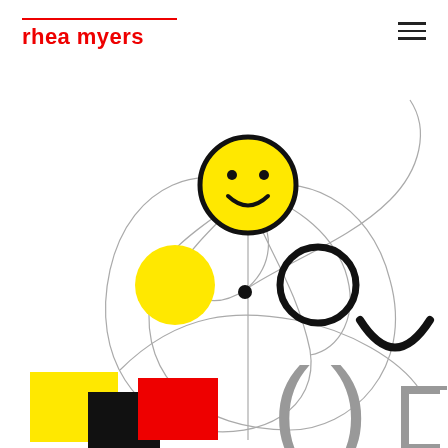rhea myers
[Figure (illustration): Abstract illustration featuring a yellow smiley face circle at top center, a yellow filled circle at left, a black outlined circle at right, a small black dot in center, curved thin gray lines connecting the circles in orbital/arc patterns, a black curved U-shape at far right, and at the bottom: a yellow square, a black square, a red square overlapping, plus large gray letters/glyphs (parenthesis shapes and a square bracket).]